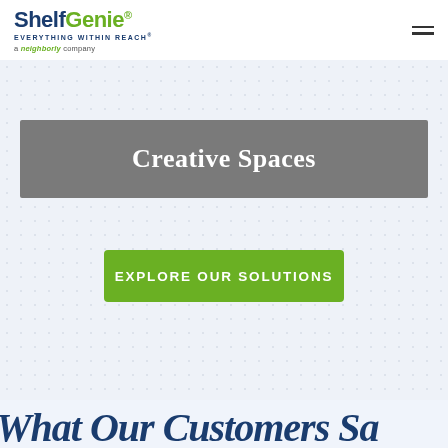[Figure (logo): ShelfGenie logo with tagline 'EVERYTHING WITHIN REACH' and 'a Neighborly company']
Creative Spaces
EXPLORE OUR SOLUTIONS
What Our Customers Sa…